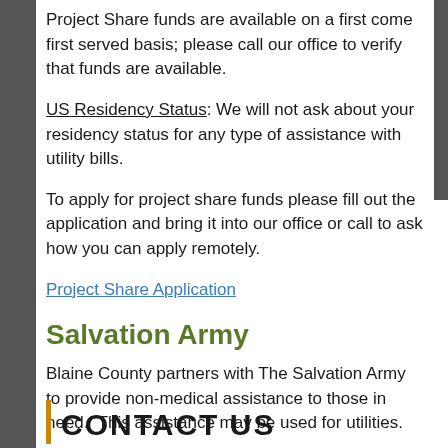Project Share funds are available on a first come first served basis; please call our office to verify that funds are available.
US Residency Status: We will not ask about your residency status for any type of assistance with utility bills.
To apply for project share funds please fill out the application and bring it into our office or call to ask how you can apply remotely.
Project Share Application
Salvation Army
Blaine County partners with The Salvation Army to provide non-medical assistance to those in need.  This assistance may be used for utilities.
CONTACT US